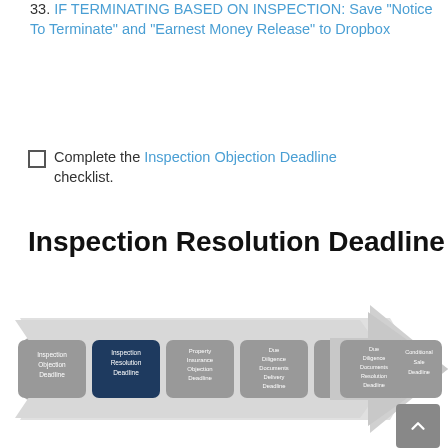33. IF TERMINATING BASED ON INSPECTION: Save "Notice To Terminate" and "Earnest Money Release" to Dropbox
Complete the Inspection Objection Deadline checklist.
Inspection Resolution Deadline
[Figure (infographic): Horizontal arrow timeline diagram showing real estate deadline steps: Inspection Objection Deadline, Inspection Resolution Deadline (highlighted dark blue), Property Insurance Objection Deadline, Due Diligence Documents Delivery Deadline, Due Diligence Documents Objection Deadline, Due Diligence Documents Resolution Deadline, Conditional Sale Deadline]